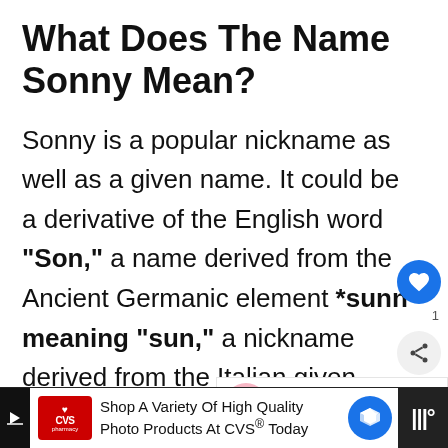What Does The Name Sonny Mean?
Sonny is a popular nickname as well as a given name. It could be a derivative of the English word “Son,” a name derived from the Ancient Germanic element *sunn meaning “sun,” a nickname derived from the Italian given names Salvatore (especially among Italian Americans in North America), or the Slavic male name Slavon, which means “famous, glorious.”
[Figure (other): Heart/like button (blue circle with heart icon) and share button (grey circle with share icon) on right sidebar, with count label '1']
[Figure (other): What's Next promo panel: 'middle names for Sonny' logo circle and text '101 Inspiring Middle Nam...']
[Figure (other): CVS Pharmacy advertisement bar at bottom: 'Shop A Variety Of High Quality Photo Products At CVS® Today']